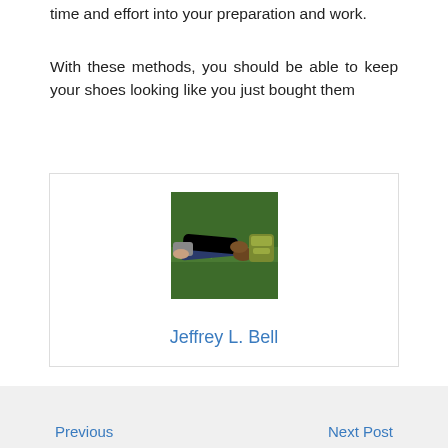time and effort into your preparation and work.
With these methods, you should be able to keep your shoes looking like you just bought them
[Figure (photo): Author photo showing a person lying on green grass with a backpack nearby, viewed from the side]
Jeffrey L. Bell
Previous   Next Post